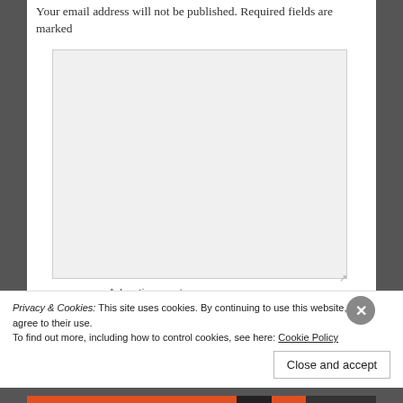Your email address will not be published. Required fields are marked
[Figure (other): A large empty textarea form field with a resize handle in the bottom-right corner]
Advertisements
Privacy & Cookies: This site uses cookies. By continuing to use this website, you agree to their use.
To find out more, including how to control cookies, see here: Cookie Policy
Close and accept